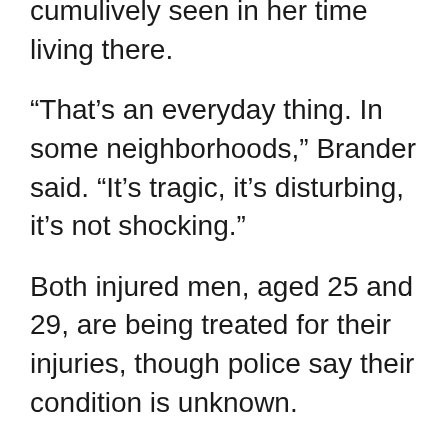cumulively seen in her time living there.
“That’s an everyday thing. In some neighborhoods,” Brander said. “It’s tragic, it’s disturbing, it’s not shocking.”
Both injured men, aged 25 and 29, are being treated for their injuries, though police say their condition is unknown.
According to police, two men "of slim builds" were seen fleeing the area in dark clothing, one carrying a bag with a strap.
Police are asking residents in the area enclosed by Saskatchewan Crescent East, Victoria Avenue, Main Street, and the Idylwyld Drive Freeway who have security cameras to review their footage between 4 p.m. and 5 p.m..